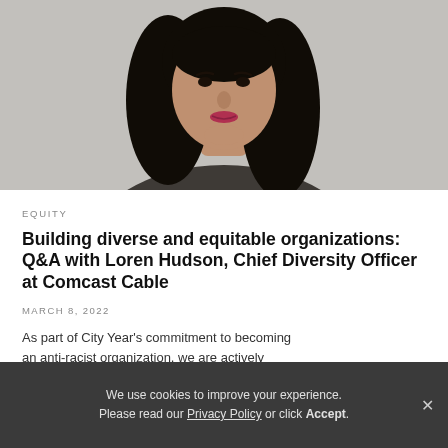[Figure (photo): Portrait photo of a woman with long dark hair wearing a gray blazer over a white blouse, against a light gray background]
EQUITY
Building diverse and equitable organizations: Q&A with Loren Hudson, Chief Diversity Officer at Comcast Cable
MARCH 8, 2022
As part of City Year's commitment to becoming an anti-racist organization, we are actively
We use cookies to improve your experience. Please read our Privacy Policy or click Accept.